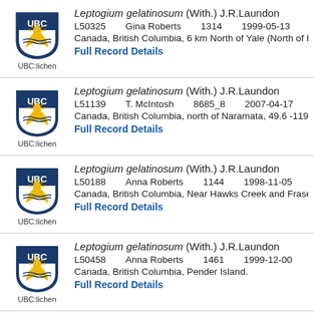Leptogium gelatinosum (With.) J.R.Laundon | L50325 Gina Roberts 1314 1999-05-13 | Canada, British Columbia, 6 km North of Yale (North of Ho... | Full Record Details
Leptogium gelatinosum (With.) J.R.Laundon | L51139 T. McIntosh 8685_8 2007-04-17 | Canada, British Columbia, north of Naramata, 49.6 -119.59... | Full Record Details
Leptogium gelatinosum (With.) J.R.Laundon | L50188 Anna Roberts 1144 1998-11-05 | Canada, British Columbia, Near Hawks Creek and Fraser R... | Full Record Details
Leptogium gelatinosum (With.) J.R.Laundon | L50458 Anna Roberts 1461 1999-12-00 | Canada, British Columbia, Pender Island. | Full Record Details
Leptogium gelatinosum (With.) J.R.Laundon | L52505 Curtis R. Bjork, Andrew Simon 37026 2... | Canada, British Columbia, Eastern Hart Range foothills, ric... | Full Record Details